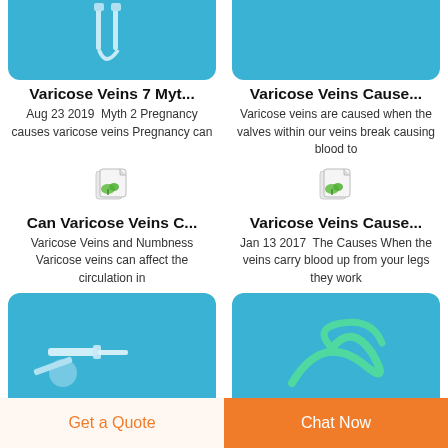[Figure (photo): Blue background medical image (top left, partially cropped) showing IV/catheter tube]
[Figure (photo): Blue background medical image (top right, partially cropped)]
Varicose Veins 7 Myt...
Varicose Veins Cause...
Aug 23 2019  Myth 2 Pregnancy causes varicose veins Pregnancy can
Varicose veins are caused when the valves within our veins break causing blood to
[Figure (illustration): Small broken image icon with green leaf]
[Figure (illustration): Small broken image icon with green leaf]
Can Varicose Veins C...
Varicose Veins Cause...
Varicose Veins and Numbness Varicose veins can affect the circulation in
Jan 13 2017  The Causes When the veins carry blood up from your legs they work
[Figure (photo): Blue background medical image (bottom left, partially cropped) showing IV/catheter device]
[Figure (photo): Blue background medical image (bottom right, partially cropped) showing green tubing]
Get a Quote
Chat Now